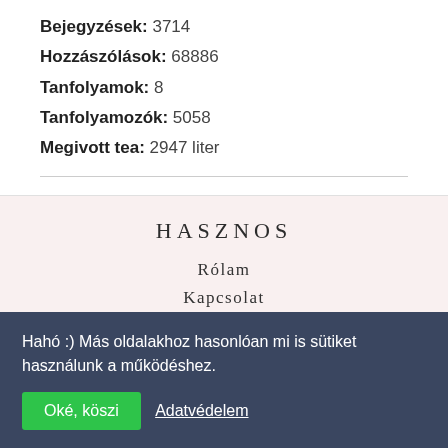Bejegyzések: 3714
Hozzászólások: 68886
Tanfolyamok: 8
Tanfolyamozók: 5058
Megivott tea: 2947 liter
HASZNOS
Rólam
Kapcsolat
Médiaajánlat
Archívum
Hahó :) Más oldalakhoz hasonlóan mi is sütiket használunk a működéshez.
Oké, köszi
Adatvédelem